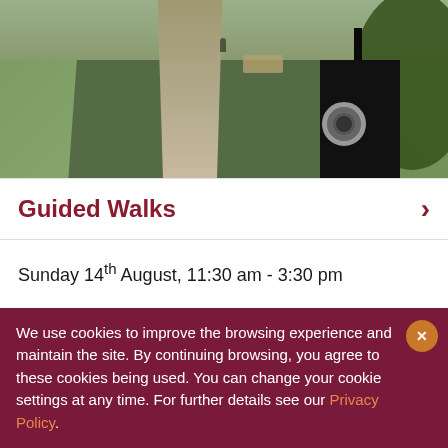[Figure (photo): A gravel footpath through green grass with a black interpretation/audio device on a post in the foreground right, and a wooden bench in the background. Trees visible on the right.]
Guided Walks
Sunday 14th August, 11:30 am - 3:30 pm
Join one of our experienced Guides for an informative and fun 2 km guided walk along surfaced footpaths exploring the Battle of Bosworth, the death of King Richard III and the unlikely victory of Henry Tudor.
We use cookies to improve the browsing experience and maintain the site. By continuing browsing, you agree to these cookies being used. You can change your cookie settings at any time. For further details see our Privacy Policy.